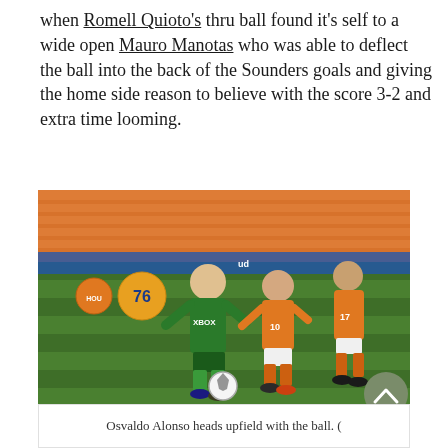when Romell Quioto's thru ball found it's self to a wide open Mauro Manotas who was able to deflect the ball into the back of the Sounders goals and giving the home side reason to believe with the score 3-2 and extra time looming.
[Figure (photo): Soccer match photo showing a Seattle Sounders player in green XBOX jersey (Osvaldo Alonso) dribbling upfield with the ball, challenged by Houston Dynamo players in orange uniforms. A 76 sponsor logo is visible on a barrier in the background. Stadium seats in orange behind.]
Osvaldo Alonso heads upfield with the ball. (